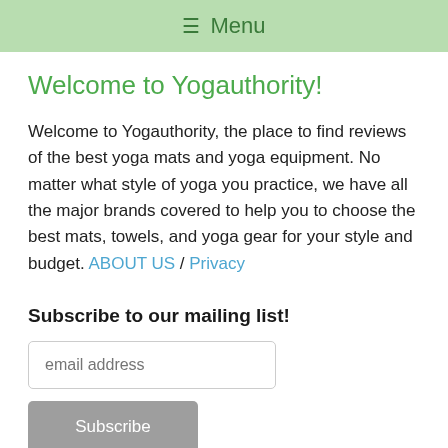≡ Menu
Welcome to Yogauthority!
Welcome to Yogauthority, the place to find reviews of the best yoga mats and yoga equipment. No matter what style of yoga you practice, we have all the major brands covered to help you to choose the best mats, towels, and yoga gear for your style and budget. ABOUT US / Privacy
Subscribe to our mailing list!
email address
Subscribe